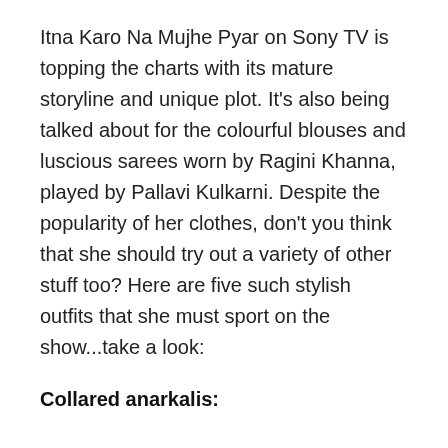Itna Karo Na Mujhe Pyar on Sony TV is topping the charts with its mature storyline and unique plot. It's also being talked about for the colourful blouses and luscious sarees worn by Ragini Khanna, played by Pallavi Kulkarni. Despite the popularity of her clothes, don't you think that she should try out a variety of other stuff too? Here are five such stylish outfits that she must sport on the show...take a look:
Collared anarkalis:
Considering her statuesque posture and